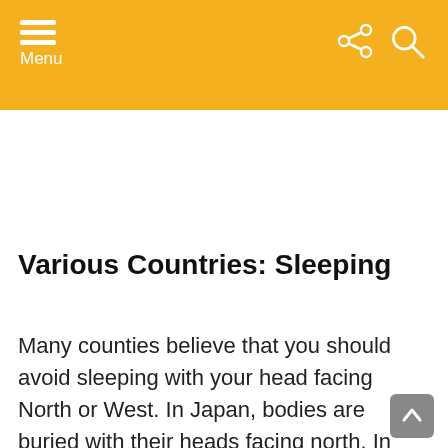Menu
Various Countries: Sleeping
Many counties believe that you should avoid sleeping with your head facing North or West. In Japan, bodies are buried with their heads facing north. In Africa, they